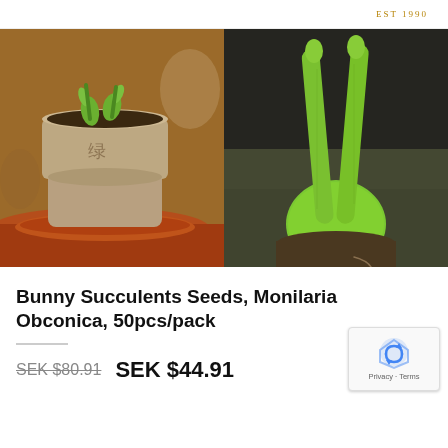EST 1990
[Figure (photo): Two product photos side by side: left shows small bunny succulent seedlings in a ceramic pot on a terracotta saucer; right shows a close-up of a bright green Monilaria Obconica seedling with two long bunny-ear shaped leaves emerging from a round bulb in soil.]
Bunny Succulents Seeds, Monilaria Obconica, 50pcs/pack
SEK $80.91  SEK $44.91